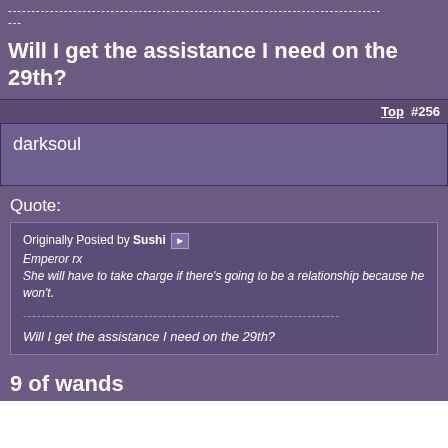--------------------------------------------------------------------------------
---
Will I get the assistance I need on the 29th?
Top  #256
darksoul
Quote:
Originally Posted by Sushi
Emperor rx
She will have to take charge if there's going to be a relationship because he won't.
-------------------------------------------------------------------
Will I get the assistance I need on the 29th?
9 of wands